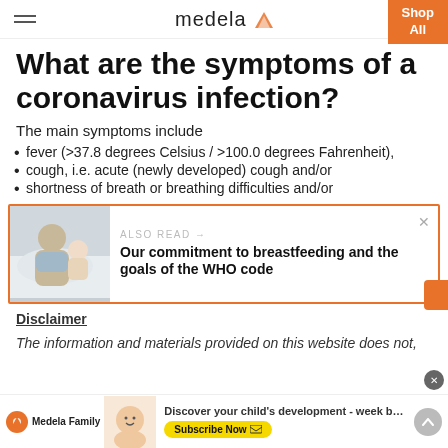medela — Shop All
What are the symptoms of a coronavirus infection?
The main symptoms include
fever (>37.8 degrees Celsius / >100.0 degrees Fahrenheit),
cough, i.e. acute (newly developed) cough and/or
shortness of breath or breathing difficulties and/or
[Figure (photo): Also Read card with photo of mother and baby, linking to article: Our commitment to breastfeeding and the goals of the WHO code]
ALSO READ → Our commitment to breastfeeding and the goals of the WHO code
Disclaimer
The information and materials provided on this website does not,
Medela Family — Discover your child's development - week b… Subscribe Now